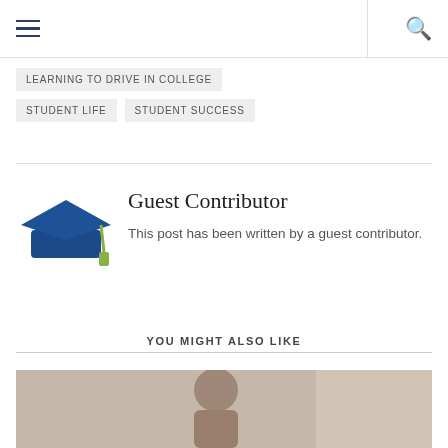Navigation menu and search bar
LEARNING TO DRIVE IN COLLEGE
STUDENT LIFE
STUDENT SUCCESS
Guest Contributor
This post has been written by a guest contributor.
YOU MIGHT ALSO LIKE
[Figure (photo): Partial view of a person, background with light and interior setting]